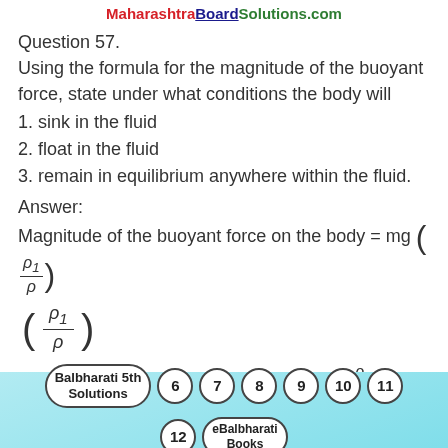MaharashtraBoardSolutions.com
Question 57.
Using the formula for the magnitude of the buoyant force, state under what conditions the body will
1. sink in the fluid
2. float in the fluid
3. remain in equilibrium anywhere within the fluid.
Answer:
Magnitude of the buoyant force on the body = mg (ρ₁/ρ)
= magnitude of the weight of the body × (ρ₁/ρ)
Balbharati 5th Solutions | 6 | 7 | 8 | 9 | 10 | 11 | 12 | eBalbharati Books